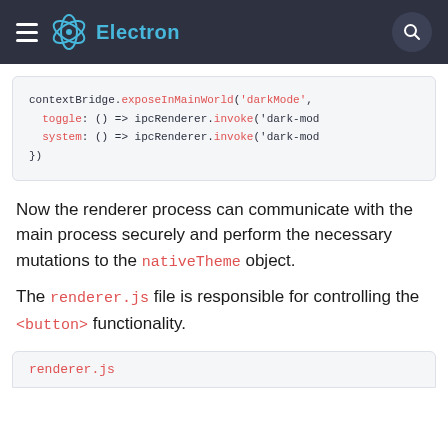Electron
[Figure (screenshot): Code block showing contextBridge.exposeInMainWorld with toggle and system ipcRenderer.invoke calls]
Now the renderer process can communicate with the main process securely and perform the necessary mutations to the nativeTheme object.
The renderer.js file is responsible for controlling the <button> functionality.
renderer.js